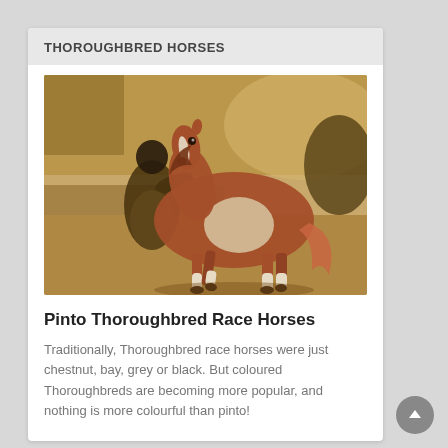THOROUGHBRED HORSES
[Figure (photo): Classical painting of a pinto (brown and white) thoroughbred horse being led by a person in dark clothing against an earthy landscape background.]
Pinto Thoroughbred Race Horses
Traditionally, Thoroughbred race horses were just chestnut, bay, grey or black. But coloured Thoroughbreds are becoming more popular, and nothing is more colourful than pinto!